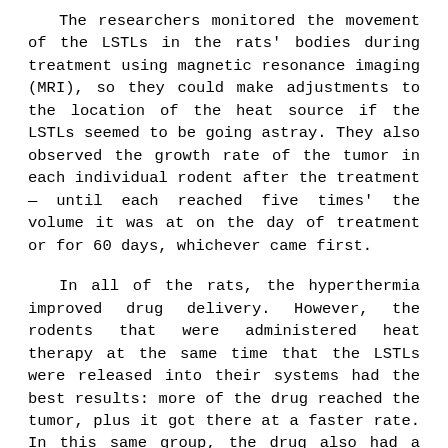The researchers monitored the movement of the LSTLs in the rats' bodies during treatment using magnetic resonance imaging (MRI), so they could make adjustments to the location of the heat source if the LSTLs seemed to be going astray. They also observed the growth rate of the tumor in each individual rodent after the treatment — until each reached five times' the volume it was at on the day of treatment or for 60 days, whichever came first.
In all of the rats, the hyperthermia improved drug delivery. However, the rodents that were administered heat therapy at the same time that the LSTLs were released into their systems had the best results: more of the drug reached the tumor, plus it got there at a faster rate. In this same group, the drug also had a more potent anticancer punch — the average time for the tumors to reach five times' their volume was 34 days. This is compared to the faster rates of 18.5 days